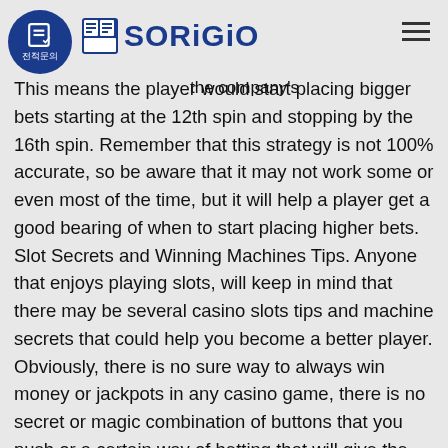SORIGIO
casino marks gameco's move into its second gaming jurisdiction in the u. As well as the company's
This means the player would start placing bigger bets starting at the 12th spin and stopping by the 16th spin. Remember that this strategy is not 100% accurate, so be aware that it may not work some or even most of the time, but it will help a player get a good bearing of when to start placing higher bets. Slot Secrets and Winning Machines Tips. Anyone that enjoys playing slots, will keep in mind that there may be several casino slots tips and machine secrets that could help you become a better player. Obviously, there is no sure way to always win money or jackpots in any casino game, there is no secret or magic combination of buttons that you push or a certain way of betting that will give the player a 100% success rate, casino kit video game.